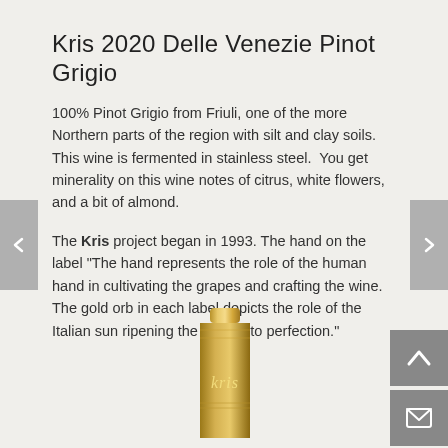Kris 2020 Delle Venezie Pinot Grigio
100% Pinot Grigio from Friuli, one of the more Northern parts of the region with silt and clay soils. This wine is fermented in stainless steel.  You get minerality on this wine notes of citrus, white flowers, and a bit of almond.
The Kris project began in 1993. The hand on the label "The hand represents the role of the human hand in cultivating the grapes and crafting the wine. The gold orb in each label depicts the role of the Italian sun ripening the grapes to perfection."
[Figure (photo): Top of a wine bottle with a gold foil capsule stamped with the Kris logo, partially visible at the bottom of the page.]